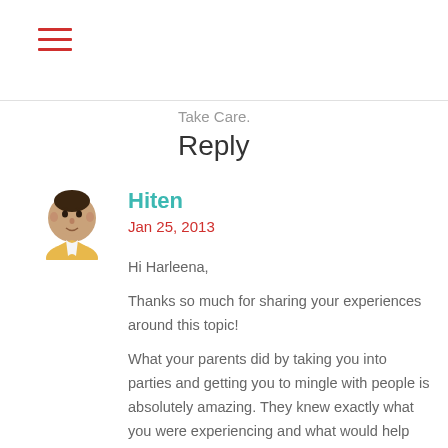≡ (hamburger menu icon)
Take Care.
Reply
[Figure (photo): Avatar photo of Hiten, a man with short dark hair wearing a yellow collar shirt, circular cropped]
Hiten
Jan 25, 2013
Hi Harleena,
Thanks so much for sharing your experiences around this topic!
What your parents did by taking you into parties and getting you to mingle with people is absolutely amazing. They knew exactly what you were experiencing and what would help you come out of the shyness. Brilliant!
And as you say, once we get started, there's no stopping...